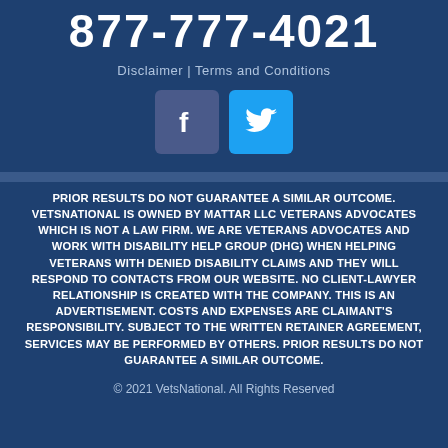877-777-4021
Disclaimer | Terms and Conditions
[Figure (illustration): Facebook and Twitter social media icons side by side]
PRIOR RESULTS DO NOT GUARANTEE A SIMILAR OUTCOME. VETSNATIONAL IS OWNED BY MATTAR LLC VETERANS ADVOCATES WHICH IS NOT A LAW FIRM. WE ARE VETERANS ADVOCATES AND WORK WITH DISABILITY HELP GROUP (DHG) WHEN HELPING VETERANS WITH DENIED DISABILITY CLAIMS AND THEY WILL RESPOND TO CONTACTS FROM OUR WEBSITE. NO CLIENT-LAWYER RELATIONSHIP IS CREATED WITH THE COMPANY. THIS IS AN ADVERTISEMENT. COSTS AND EXPENSES ARE CLAIMANT'S RESPONSIBILITY. SUBJECT TO THE WRITTEN RETAINER AGREEMENT, SERVICES MAY BE PERFORMED BY OTHERS. PRIOR RESULTS DO NOT GUARANTEE A SIMILAR OUTCOME.
© 2021 VetsNational. All Rights Reserved